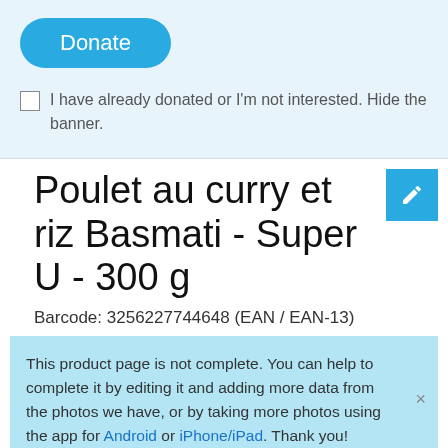[Figure (screenshot): Donate button (rounded blue button with white text 'Donate')]
I have already donated or I'm not interested. Hide the banner.
Poulet au curry et riz Basmati - Super U - 300 g
Barcode: 3256227744648 (EAN / EAN-13)
This product page is not complete. You can help to complete it by editing it and adding more data from the photos we have, or by taking more photos using the app for Android or iPhone/iPad. Thank you!
Some of the data for this product has been provided